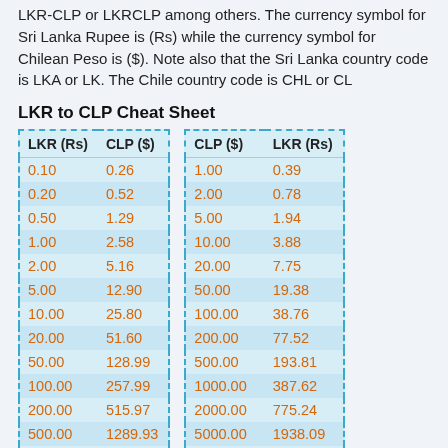LKR-CLP or LKRCLP among others. The currency symbol for Sri Lanka Rupee is (Rs) while the currency symbol for Chilean Peso is ($). Note also that the Sri Lanka country code is LKA or LK. The Chile country code is CHL or CL
LKR to CLP Cheat Sheet
| LKR (Rs) | CLP ($) |
| --- | --- |
| 0.10 | 0.26 |
| 0.20 | 0.52 |
| 0.50 | 1.29 |
| 1.00 | 2.58 |
| 2.00 | 5.16 |
| 5.00 | 12.90 |
| 10.00 | 25.80 |
| 20.00 | 51.60 |
| 50.00 | 128.99 |
| 100.00 | 257.99 |
| 200.00 | 515.97 |
| 500.00 | 1289.93 |
| 1000.00 | 2579.86 |
| CLP ($) | LKR (Rs) |
| --- | --- |
| 1.00 | 0.39 |
| 2.00 | 0.78 |
| 5.00 | 1.94 |
| 10.00 | 3.88 |
| 20.00 | 7.75 |
| 50.00 | 19.38 |
| 100.00 | 38.76 |
| 200.00 | 77.52 |
| 500.00 | 193.81 |
| 1000.00 | 387.62 |
| 2000.00 | 775.24 |
| 5000.00 | 1938.09 |
| 10000.00 | 3876.18 |